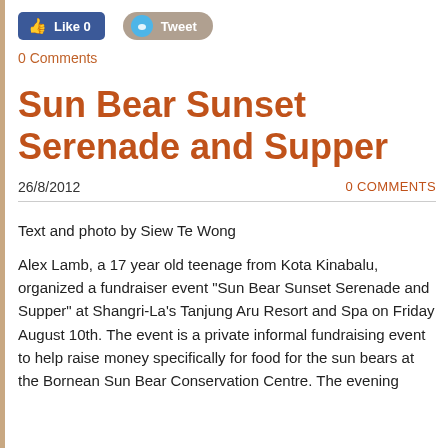[Figure (screenshot): Social media buttons: Facebook Like button showing 'Like 0' in blue, and a Tweet button in beige/blue]
0 Comments
Sun Bear Sunset Serenade and Supper
26/8/2012                                           0 COMMENTS
Text and photo by Siew Te Wong
Alex Lamb, a 17 year old teenage from Kota Kinabalu, organized a fundraiser event "Sun Bear Sunset Serenade and Supper" at Shangri-La's Tanjung Aru Resort and Spa on Friday August 10th. The event is a private informal fundraising event to help raise money specifically for food for the sun bears at the Bornean Sun Bear Conservation Centre. The evening